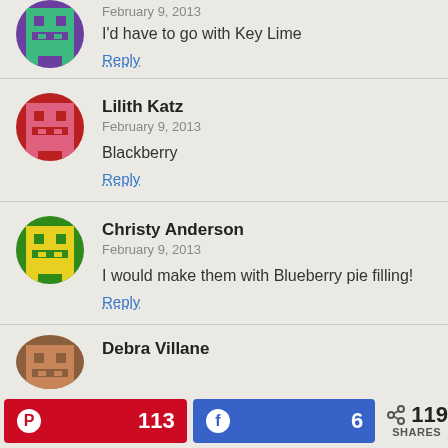[Figure (illustration): Pixel art avatar - green/teal character on purple background (partial, top cut off)]
February 9, 2013
I'd have to go with Key Lime
Reply
[Figure (illustration): Pixel art avatar - pink/red character on red background]
Lilith Katz
February 9, 2013
Blackberry
Reply
[Figure (illustration): Pixel art avatar - yellow character on green background]
Christy Anderson
February 9, 2013
I would make them with Blueberry pie filling!
Reply
[Figure (illustration): Pixel art avatar - brown character (partial, bottom cut off)]
Debra Villane (partial)
113
6
119 SHARES